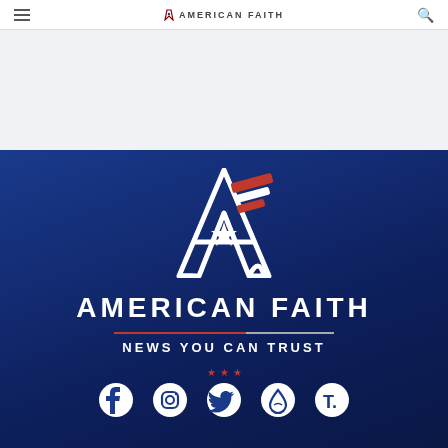American Faith
[Figure (logo): American Faith logo: stylized letter A with star and wing design, red and white stripes on dark blue background]
AMERICAN FAITH
NEWS YOU CAN TRUST
[Figure (infographic): Social media icons: Facebook, Instagram, Twitter (with red stars above), Rumble/drop icon, Truth Social icon]